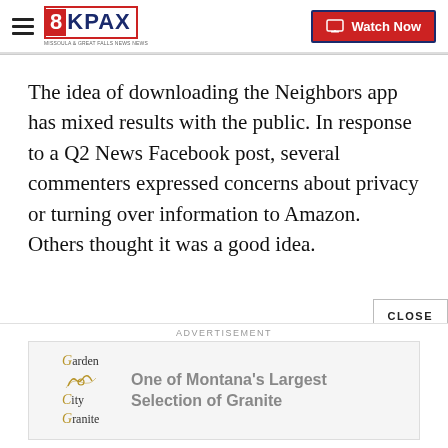8KPAX | Watch Now
The idea of downloading the Neighbors app has mixed results with the public. In response to a Q2 News Facebook post, several commenters expressed concerns about privacy or turning over information to Amazon. Others thought it was a good idea.
[Figure (other): Garden City Granite advertisement: One of Montana's Largest Selection of Granite]